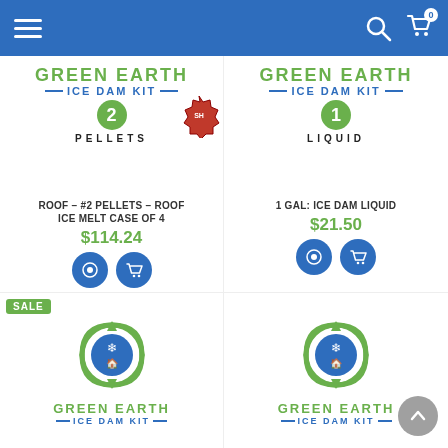Green Earth Ice Dam Kit — navigation header with menu, search, and cart icons
[Figure (screenshot): Green Earth Ice Dam Kit #2 Pellets product card showing product label graphic with green text 'GREEN EARTH ICE DAM KIT', number 2 badge, PELLETS subtext, and a red sale seal]
ROOF – #2 PELLETS – ROOF ICE MELT CASE OF 4
$114.24
[Figure (screenshot): Green Earth Ice Dam Kit #1 Liquid product card showing product label graphic with green text 'GREEN EARTH ICE DAM KIT', number 1 badge, LIQUID subtext]
1 GAL: ICE DAM LIQUID
$21.50
SALE
[Figure (logo): Green Earth Ice Dam Kit logo with circular recycling arrow and house/snowflake icon, green text GREEN EARTH, blue text ICE DAM KIT]
[Figure (logo): Green Earth Ice Dam Kit logo with circular recycling arrow and house/snowflake icon, green text GREEN EARTH, blue text ICE DAM KIT]